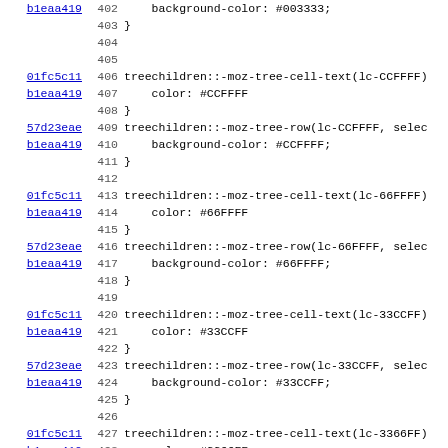Code view showing CSS lines 402-434 with git blame links
402  background-color: #003333;
403 }
404
405
406 treechildren::-moz-tree-cell-text(lc-CCFFFF)
407    color: #CCFFFF
408 }
409 treechildren::-moz-tree-row(lc-CCFFFF, selec
410    background-color: #CCFFFF;
411 }
412
413 treechildren::-moz-tree-cell-text(lc-66FFFF)
414    color: #66FFFF
415 }
416 treechildren::-moz-tree-row(lc-66FFFF, selec
417    background-color: #66FFFF;
418 }
419
420 treechildren::-moz-tree-cell-text(lc-33CCFF)
421    color: #33CCFF
422 }
423 treechildren::-moz-tree-row(lc-33CCFF, selec
424    background-color: #33CCFF;
425 }
426
427 treechildren::-moz-tree-cell-text(lc-3366FF)
428    color: #3366FF
429 }
430 treechildren::-moz-tree-row(lc-3366FF, selec
431    background-color: #3366FF;
432 }
433
434 treechildren::-moz-tree-cell-text(lc-3333FF)